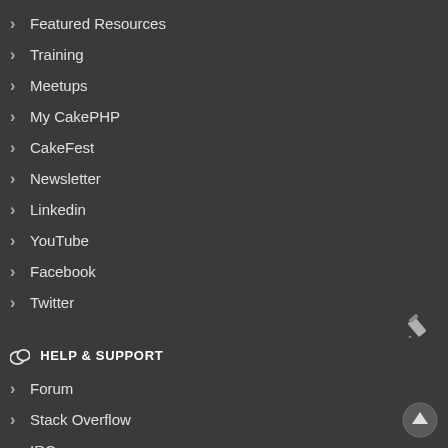Featured Resources
Training
Meetups
My CakePHP
CakeFest
Newsletter
Linkedin
YouTube
Facebook
Twitter
HELP & SUPPORT
Forum
Stack Overflow
IRC
Slack
Paid Support